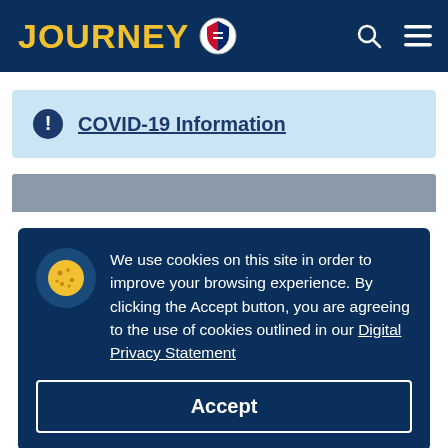JOURNEY [shield icon] — navigation header with search and menu icons
COVID-19 Information
We use cookies on this site in order to improve your browsing experience. By clicking the Accept button, you are agreeing to the use of cookies outlined in our Digital Privacy Statement
Accept